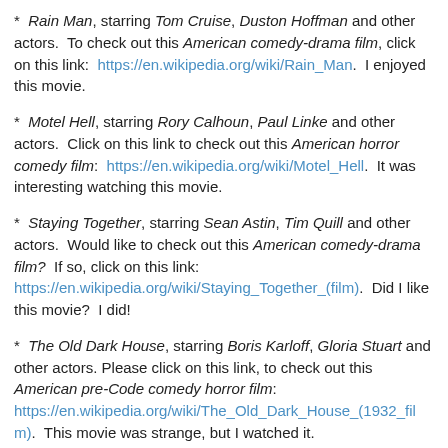* Rain Man, starring Tom Cruise, Duston Hoffman and other actors.  To check out this American comedy-drama film, click on this link:  https://en.wikipedia.org/wiki/Rain_Man.  I enjoyed this movie.
* Motel Hell, starring Rory Calhoun, Paul Linke and other actors.  Click on this link to check out this American horror comedy film:  https://en.wikipedia.org/wiki/Motel_Hell.  It was interesting watching this movie.
* Staying Together, starring Sean Astin, Tim Quill and other actors.  Would like to check out this American comedy-drama film?  If so, click on this link: https://en.wikipedia.org/wiki/Staying_Together_(film).  Did I like this movie?  I did!
* The Old Dark House, starring Boris Karloff, Gloria Stuart and other actors. Please click on this link, to check out this American pre-Code comedy horror film: https://en.wikipedia.org/wiki/The_Old_Dark_House_(1932_film).  This movie was strange, but I watched it.